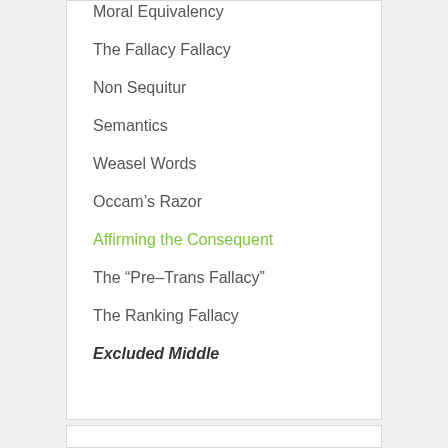Moral Equivalency
The Fallacy Fallacy
Non Sequitur
Semantics
Weasel Words
Occam's Razor
Affirming the Consequent
The “Pre-Trans Fallacy”
The Ranking Fallacy
Excluded Middle